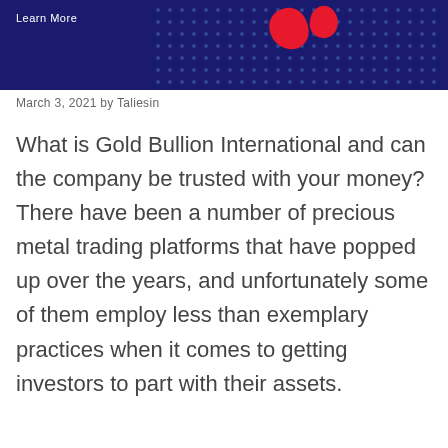[Figure (other): Dark navy blue banner with 'Learn More' text in white, red blob shapes, and a dot-pattern map graphic on the right side]
March 3, 2021 by Taliesin
What is Gold Bullion International and can the company be trusted with your money? There have been a number of precious metal trading platforms that have popped up over the years, and unfortunately some of them employ less than exemplary practices when it comes to getting investors to part with their assets.